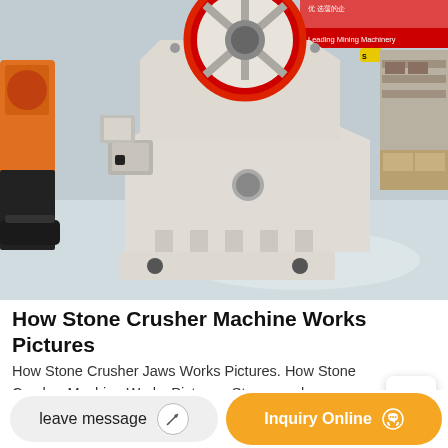[Figure (photo): A large jaw stone crusher machine (cream/white and red colored) sitting on an industrial factory floor. The background shows a manufacturing facility with yellow machinery on the left and shelving/boxes on the right. A sign reading 'Leading Mining Machinery' is visible in the upper right.]
How Stone Crusher Machine Works Pictures
How Stone Crusher Jaws Works Pictures. How Stone Crusher Machine Works Pictures. Stone crusher machine pictures how stone crusher machine works pictures how stone crusher machine works pictures Crusher Wikipedia A
leave message
Inquiry Online